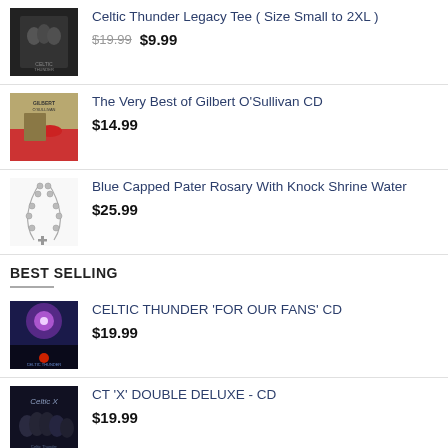[Figure (photo): Celtic Thunder Legacy Tee product thumbnail - group photo on dark background]
Celtic Thunder Legacy Tee ( Size Small to 2XL )
$19.99  $9.99
[Figure (photo): The Very Best of Gilbert O'Sullivan CD cover - person in red dress at piano]
The Very Best of Gilbert O'Sullivan CD
$14.99
[Figure (photo): Blue Capped Pater Rosary with cross against white background]
Blue Capped Pater Rosary With Knock Shrine Water
$25.99
BEST SELLING
[Figure (photo): Celtic Thunder For Our Fans CD cover - purple/blue sky with moon]
CELTIC THUNDER 'FOR OUR FANS' CD
$19.99
[Figure (photo): CT 'X' Double Deluxe CD cover - group photo dark background]
CT 'X' DOUBLE DELUXE - CD
$19.99